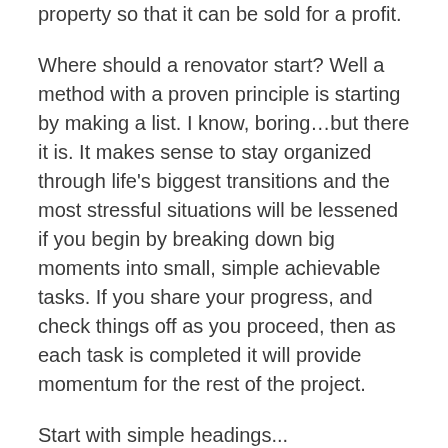property so that it can be sold for a profit.
Where should a renovator start? Well a method with a proven principle is starting by making a list. I know, boring…but there it is. It makes sense to stay organized through life's biggest transitions and the most stressful situations will be lessened if you begin by breaking down big moments into small, simple achievable tasks. If you share your progress, and check things off as you proceed, then as each task is completed it will provide momentum for the rest of the project.
Start with simple headings...